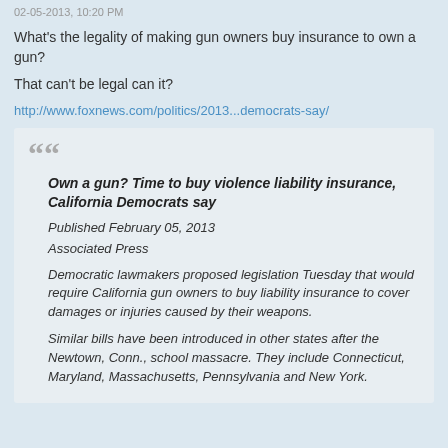02-05-2013, 10:20 PM
What's the legality of making gun owners buy insurance to own a gun?
That can't be legal can it?
http://www.foxnews.com/politics/2013...democrats-say/
Own a gun? Time to buy violence liability insurance, California Democrats say
Published February 05, 2013
Associated Press
Democratic lawmakers proposed legislation Tuesday that would require California gun owners to buy liability insurance to cover damages or injuries caused by their weapons.
Similar bills have been introduced in other states after the Newtown, Conn., school massacre. They include Connecticut, Maryland, Massachusetts, Pennsylvania and New York.